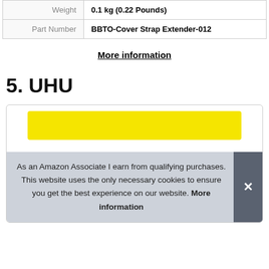| Weight | 0.1 kg (0.22 Pounds) |
| Part Number | BBTO-Cover Strap Extender-012 |
More information
5. UHU
[Figure (photo): Product image card showing a yellow product (UHU) with a cookie consent banner overlay reading: As an Amazon Associate I earn from qualifying purchases. This website uses the only necessary cookies to ensure you get the best experience on our website. More information]
As an Amazon Associate I earn from qualifying purchases. This website uses the only necessary cookies to ensure you get the best experience on our website. More information